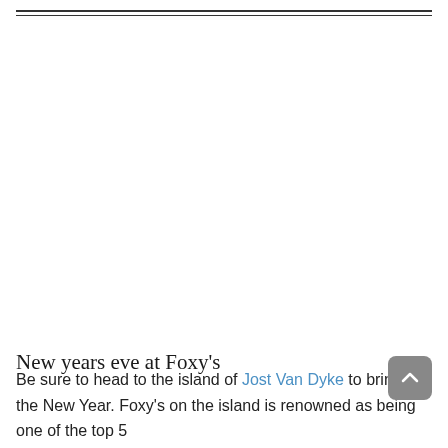New years eve at Foxy's
Be sure to head to the island of Jost Van Dyke to bring in the New Year. Foxy's on the island is renowned as being one of the top 5